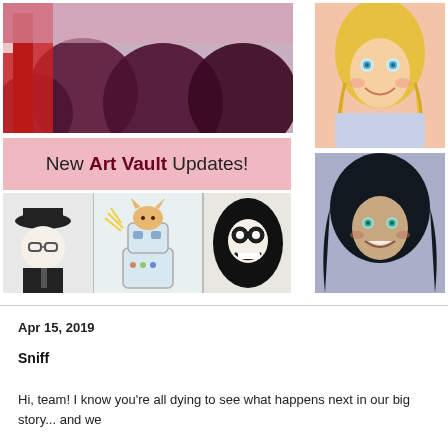[Figure (illustration): Comic art panel - top left: dark moody scene with red and dark purple/maroon circular shapes]
[Figure (illustration): Banner with pink background reading 'New Art Vault Updates!']
[Figure (illustration): Comic art panel - bottom: black and white cartoon characters including a person with glasses, a robot with a cat, and masked figures]
[Figure (illustration): Comic art panel - top right: blonde character smiling, colorful]
[Figure (illustration): Comic art panel - bottom right: dark-haired character with teal eyes smiling]
Apr 15, 2019
Sniff
Hi, team! I know you're all dying to see what happens next in our big story... and we